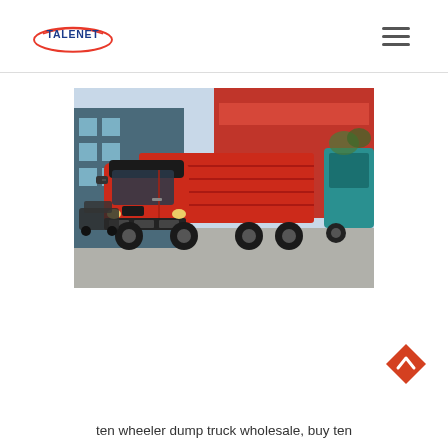TALENET (logo with hamburger menu)
[Figure (photo): Red HOWO ten-wheeler dump truck parked in a yard, with buildings and other trucks in the background]
[Figure (other): Orange/red diamond-shaped back-to-top button with upward chevron arrow]
ten wheeler dump truck wholesale, buy ten